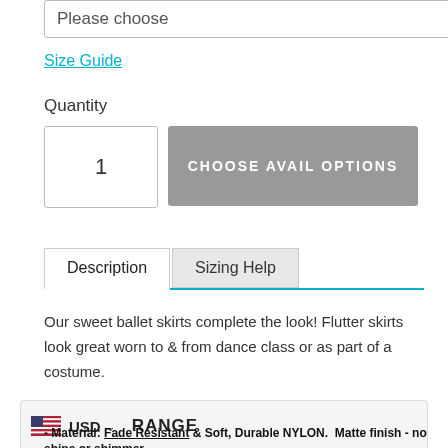Please choose
Size Guide
Quantity
1
CHOOSE AVAIL OPTIONS
Description
Sizing Help
Our sweet ballet skirts complete the look! Flutter skirts look great worn to & from dance class or as part of a costume.
RANGE
Material: Fade Resistant & Soft, Durable NYLON. Matte finish - no shine or shimmer.